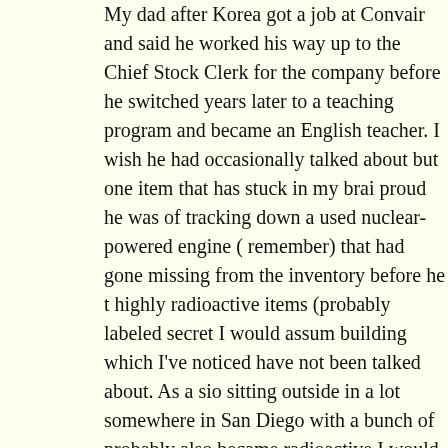My dad after Korea got a job at Convair and said he worked his way up to the Chief Stock Clerk for the company before he switched years later to a teaching program and became an English teacher. I wish he had talked more, occasionally talked about but one item that has stuck in my brain is how proud he was of tracking down a used nuclear-powered engine (a prototype I remember) that had gone missing from the inventory before he took over. So highly radioactive items (probably labeled secret I would assume) were in the building which I've noticed have not been talked about. As a side note it was sitting outside in a lot somewhere in San Diego with a bunch of other things probably also became radioactive I would assume…
And I agree with Robert Davis, why isn't this a Superfund site next to a densely-packed residential area? When has building anything on contaminated ground ever worked out? I keep recalling articles about how kids were sick playing in their family yards where nobody could figure out why they were ill until somebody tested the dirt they were playing in.
And it's a liquefaction earthquake zone! I mean, how stupid do